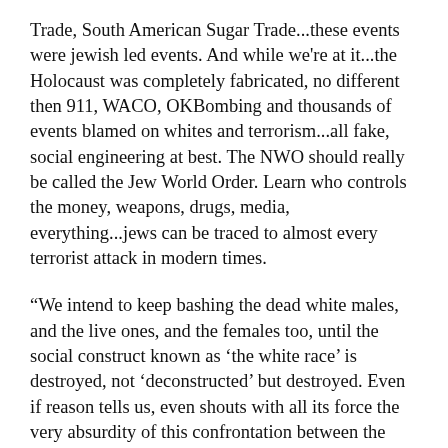Trade, South American Sugar Trade...these events were jewish led events. And while we're at it...the Holocaust was completely fabricated, no different then 911, WACO, OKBombing and thousands of events blamed on whites and terrorism...all fake, social engineering at best. The NWO should really be called the Jew World Order. Learn who controls the money, weapons, drugs, media, everything...jews can be traced to almost every terrorist attack in modern times.
“We intend to keep bashing the dead white males, and the live ones, and the females too, until the social construct known as ‘the white race’ is destroyed, not ‘deconstructed’ but destroyed. Even if reason tells us, even shouts with all its force the very absurdity of this confrontation between the small and insignificant people of Israel [i.e., all Jewry worldwide, not just “the State of Israel”] and